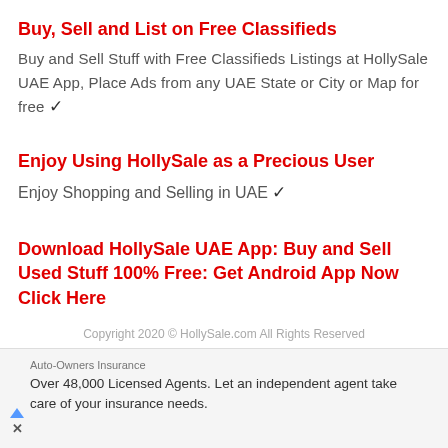Buy, Sell and List on Free Classifieds
Buy and Sell Stuff with Free Classifieds Listings at HollySale UAE App, Place Ads from any UAE State or City or Map for free ✓
Enjoy Using HollySale as a Precious User
Enjoy Shopping and Selling in UAE ✓
Download HollySale UAE App: Buy and Sell Used Stuff 100% Free: Get Android App Now Click Here
Copyright 2020 © HollySale.com All Rights Reserved
Auto-Owners Insurance
Over 48,000 Licensed Agents. Let an independent agent take care of your insurance needs.